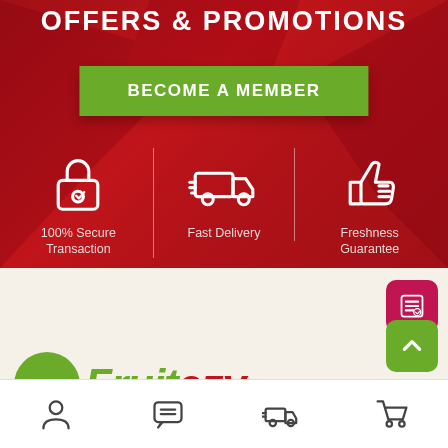OFFERS & PROMOTIONS
BECOME A MEMBER
[Figure (infographic): Three icons on red background: lock with checkmark (100% Secure Transaction), delivery van (Fast Delivery), thumbs up (Freshness Guarantee)]
100% Secure Transaction
Fast Delivery
Freshness Guarantee
[Figure (logo): Fruitezy logo with green circle crown icon and green/red italic text]
[Figure (infographic): Bottom navigation bar with person, chat, delivery, cart icons plus floating list and up-arrow buttons]